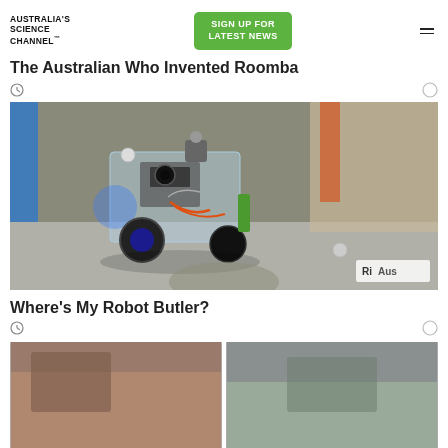AUSTRALIA'S SCIENCE CHANNEL™
SIGN UP FOR LATEST NEWS
The Australian Who Invented Roomba
[Figure (photo): Close-up photo of a small robotics prototype with blue wheels, wires, servo motors, and a camera module on a flat surface. Watermark: Ri Aus]
Where's My Robot Butler?
[Figure (photo): Partial view of bottom strip photos, content partially visible]